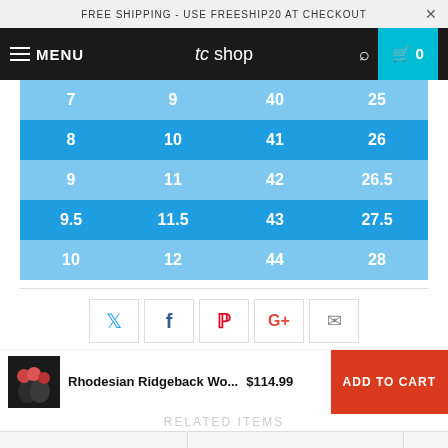FREE SHIPPING - USE FREESHIP20 AT CHECKOUT
MENU  tc shop  0
| US | UK | EU | CM |
| --- | --- | --- | --- |
| 7 | 9 | 40 | 25 |
| 8 | 10 | 41 | 26 |
| 9 | 11 | 42 | 26.5 |
| 9.5 | 11.5 | 43 | 27.5 |
| 10 | 12 | 44 | 28 |
[Figure (infographic): Social share buttons: Twitter, Facebook, Pinterest, Google+, Email]
Rhodesian Ridgeback Wo... $114.99  ADD TO CART
RELATED ITEMS
Women's Leather Boot  US5 (EU35)  1